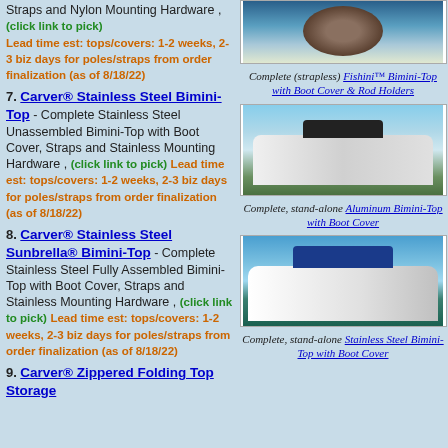Straps and Nylon Mounting Hardware , (click link to pick) Lead time est: tops/covers: 1-2 weeks, 2-3 biz days for poles/straps from order finalization (as of 8/18/22)
7. Carver® Stainless Steel Bimini-Top - Complete Stainless Steel Unassembled Bimini-Top with Boot Cover, Straps and Stainless Mounting Hardware , (click link to pick) Lead time est: tops/covers: 1-2 weeks, 2-3 biz days for poles/straps from order finalization (as of 8/18/22)
8. Carver® Stainless Steel Sunbrella® Bimini-Top - Complete Stainless Steel Fully Assembled Bimini-Top with Boot Cover, Straps and Stainless Mounting Hardware , (click link to pick) Lead time est: tops/covers: 1-2 weeks, 2-3 biz days for poles/straps from order finalization (as of 8/18/22)
9. Carver® Zippered Folding Top Storage
[Figure (photo): Boat with Fishini Bimini-Top fishing rod holders]
Complete (strapless) Fishini™ Bimini-Top with Boot Cover & Rod Holders
[Figure (photo): White boat on water with aluminum Bimini-Top and boot cover]
Complete, stand-alone Aluminum Bimini-Top with Boot Cover
[Figure (photo): White boat on water with stainless steel Bimini-Top and boot cover]
Complete, stand-alone Stainless Steel Bimini-Top with Boot Cover